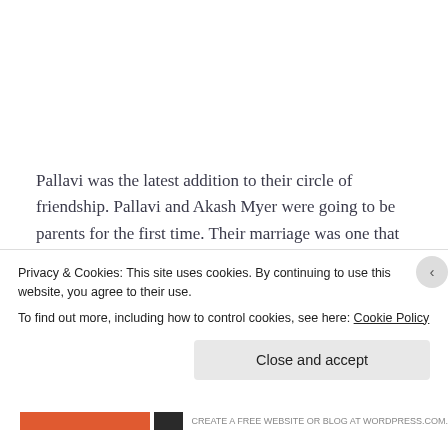Pallavi was the latest addition to their circle of friendship. Pallavi and Akash Myer were going to be parents for the first time. Their marriage was one that was arranged by their parents. It worked for both of them very well. Khushi and Lavanya
Privacy & Cookies: This site uses cookies. By continuing to use this website, you agree to their use.
To find out more, including how to control cookies, see here: Cookie Policy
Close and accept